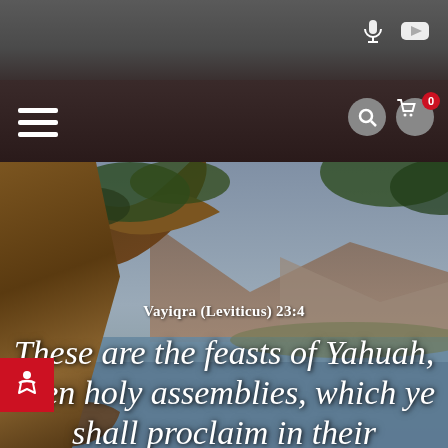Website navigation bar with hamburger menu, microphone icon, YouTube icon, search icon, and shopping cart with badge 0
[Figure (photo): Scenic landscape photo showing a tree with a large trunk leaning over a body of water, with mountains visible in the background under a hazy sky - Sea of Galilee region]
Vayiqra (Leviticus) 23:4
These are the feasts of Yahuah, even holy assemblies, which ye shall proclaim in their appointed times